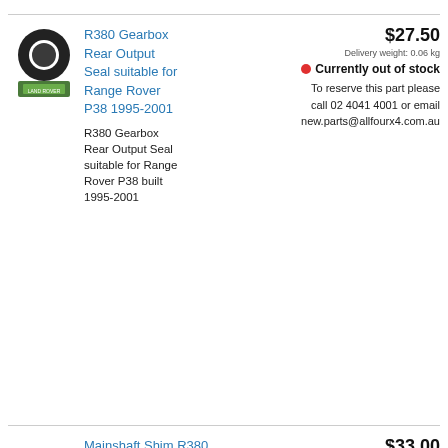[Figure (photo): R380 Gearbox Rear Output Seal - rubber ring/seal with Land Rover label tag beneath]
R380 Gearbox Rear Output Seal suitable for Range Rover P38 1995-2001
R380 Gearbox Rear Output Seal suitable for Range Rover P38 built 1995-2001
$27.50
Delivery weight: 0.06 kg
Currently out of stock
To reserve this part please call 02 4041 4001 or email new.parts@allfourx4.com.au
[Figure (photo): Mainshaft Shim - thin metal ring/shim, circular with large central hole]
Mainshaft Shim R380 Gearbox suitable for Range Rover Defender Discovery Genuine ETC3765
$33.00
Delivery weight: 0.05 kg
In stock